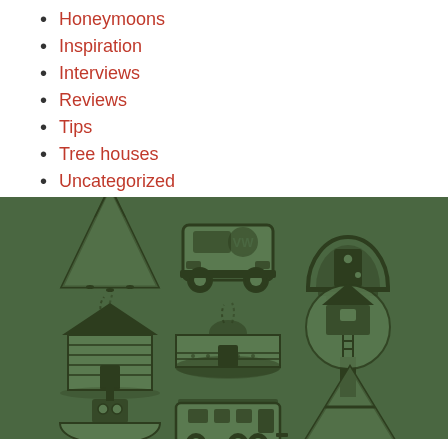Honeymoons
Inspiration
Interviews
Reviews
Tips
Tree houses
Uncategorized
[Figure (illustration): Grid of camping/accommodation icons on dark green background: teepee, VW bus, hobbit door, log cabin, yurt/roundhouse, treehouse, boat, RV/caravan, A-frame tent, and partially visible icon at bottom]